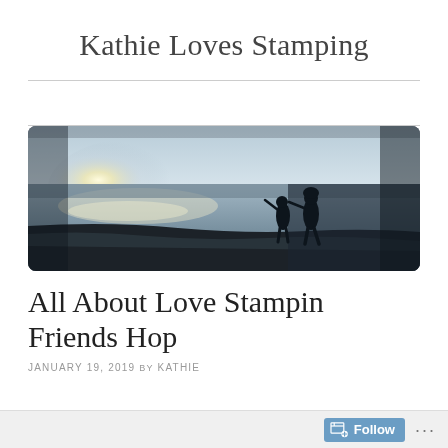Kathie Loves Stamping
[Figure (photo): Wide panoramic beach photo at dusk/sunset showing two children silhouetted standing at the water's edge, with bright light reflecting off the water and dark rocky shoreline in the foreground.]
All About Love Stampin Friends Hop
JANUARY 19, 2019 by KATHIE
[Figure (other): WordPress Follow button widget in the bottom bar with a blue follow icon and text 'Follow', plus a '...' menu button.]